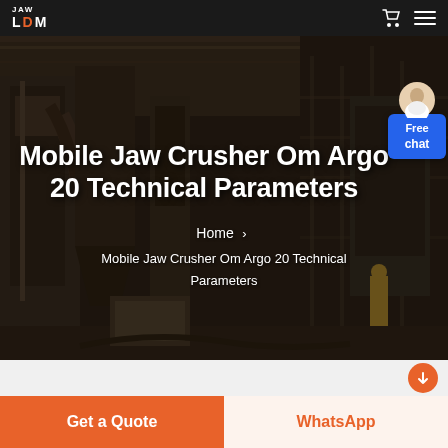LDM
Mobile Jaw Crusher Om Argo 20 Technical Parameters
Home › Mobile Jaw Crusher Om Argo 20 Technical Parameters
[Figure (screenshot): Free chat button with customer service avatar in blue, positioned top right of hero section]
[Figure (photo): Industrial machinery/factory interior background image, dark tones with heavy equipment visible]
Get a Quote
WhatsApp